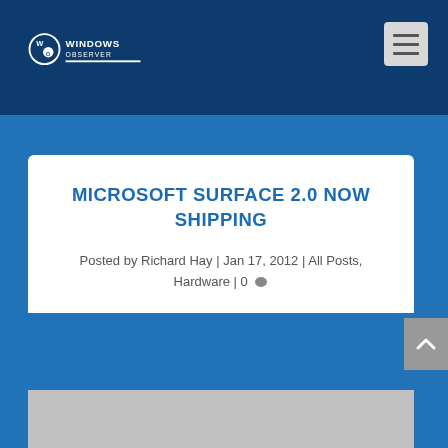Windows Observer
MICROSOFT SURFACE 2.0 NOW SHIPPING
Posted by Richard Hay | Jan 17, 2012 | All Posts, Hardware | 0
[Figure (photo): Gray placeholder image for article content]